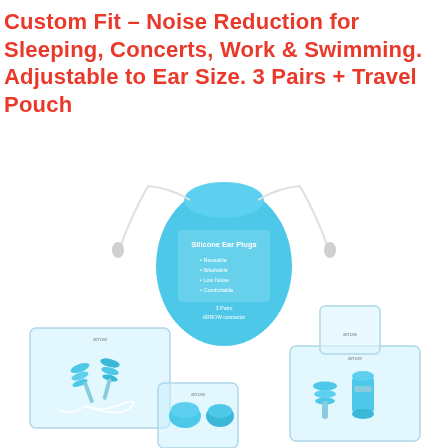Custom Fit – Noise Reduction for Sleeping, Concerts, Work & Swimming. Adjustable to Ear Size. 3 Pairs + Travel Pouch
[Figure (photo): Product photo showing silicone ear plugs set: a light blue drawstring travel pouch labeled 'Silicone Ear Plugs' in the center, surrounded by three clear plastic cases containing blue silicone ear plugs in different styles — one with a cord, one stacked set, and one with a small canister-style plug. All on white background.]